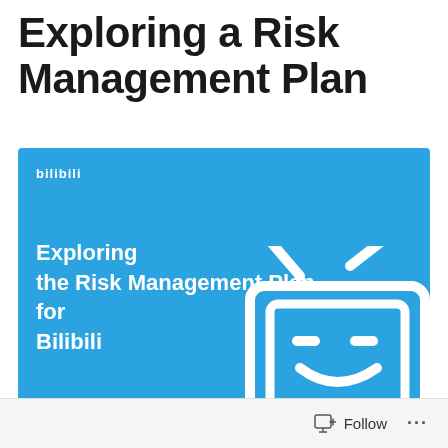Exploring a Risk Management Plan
[Figure (illustration): Blue background slide thumbnail showing 'Exploring the Risk Management Plan for Bilibili' with Bilibili logo and TV mascot character icon in white on blue background]
Follow